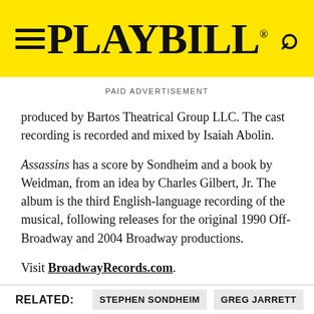PLAYBILL
PAID ADVERTISEMENT
produced by Bartos Theatrical Group LLC. The cast recording is recorded and mixed by Isaiah Abolin.
Assassins has a score by Sondheim and a book by Weidman, from an idea by Charles Gilbert, Jr. The album is the third English-language recording of the musical, following releases for the original 1990 Off-Broadway and 2004 Broadway productions.
Visit BroadwayRecords.com.
RELATED: STEPHEN SONDHEIM GREG JARRETT